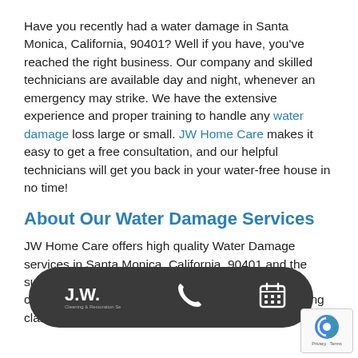Have you recently had a water damage in Santa Monica, California, 90401? Well if you have, you've reached the right business. Our company and skilled technicians are available day and night, whenever an emergency may strike. We have the extensive experience and proper training to handle any water damage loss large or small. JW Home Care makes it easy to get a free consultation, and our helpful technicians will get you back in your water-free house in no time!
About Our Water Damage Services
JW Home Care offers high quality Water Damage services in Santa Monica, California, 90401 and the surrounding areas. All documentation is properly collected and accessible to all parties involved, making claim processing run smoothly and
[Figure (other): Dark overlay bar at bottom with JW Home Care logo, phone icon, and calendar icon. reCAPTCHA badge in bottom-right corner.]